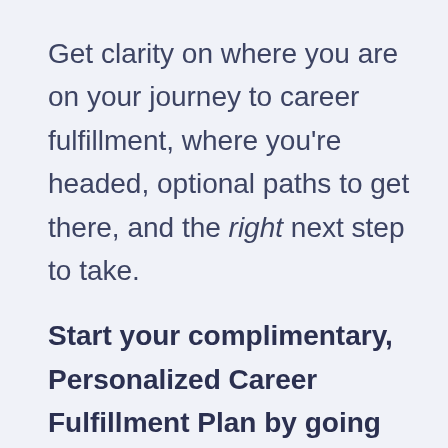Get clarity on where you are on your journey to career fulfillment, where you're headed, optional paths to get there, and the right next step to take.
Start your complimentary, Personalized Career Fulfillment Plan by going